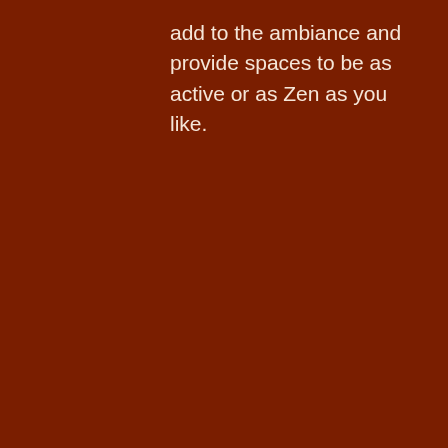add to the ambiance and provide spaces to be as active or as Zen as you like.